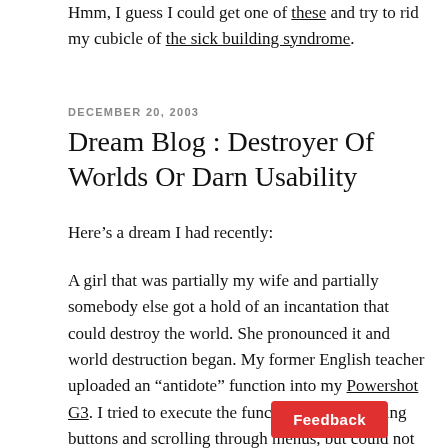Hmm, I guess I could get one of these and try to rid my cubicle of the sick building syndrome.
DECEMBER 20, 2003
Dream Blog : Destroyer Of Worlds Or Darn Usability
Here’s a dream I had recently:
A girl that was partially my wife and partially somebody else got a hold of an incantation that could destroy the world. She pronounced it and world destruction began. My former English teacher uploaded an “antidote” function into my Powershot G3. I tried to execute the function. I kept pressing buttons and scrolling through menus, but could not find it. A popup window (which happened in the air, not on cam…gave me an ominous warning “World destr………ace. Now